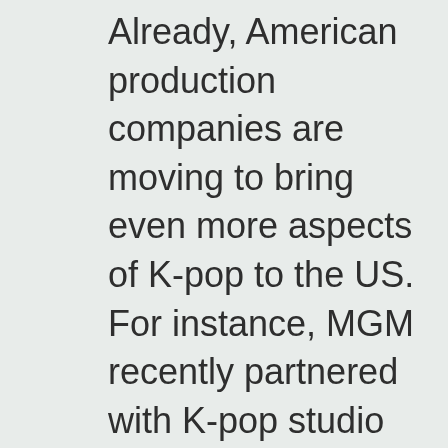Already, American production companies are moving to bring even more aspects of K-pop to the US. For instance, MGM recently partnered with K-pop studio SM Entertainment to bring the K-pop reality competition format to Hollywood.

Even more intriguing: On the